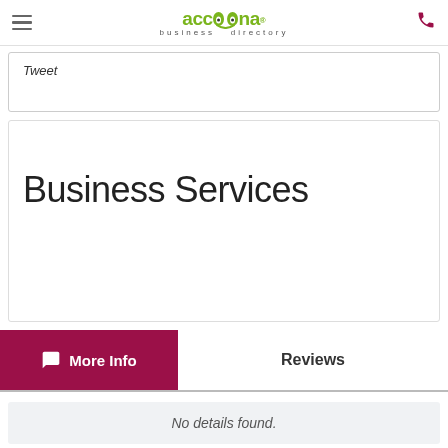accoona business directory
Tweet
Business Services
More Info
Reviews
No details found.